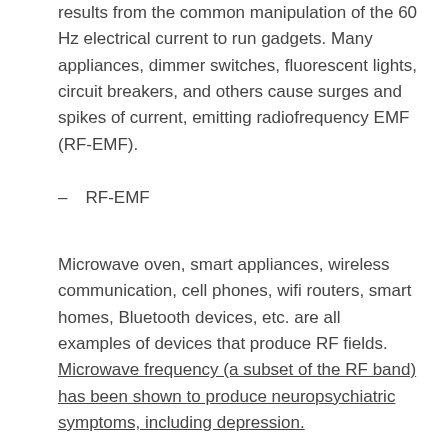results from the common manipulation of the 60 Hz electrical current to run gadgets. Many appliances, dimmer switches, fluorescent lights, circuit breakers, and others cause surges and spikes of current, emitting radiofrequency EMF (RF-EMF).
– RF-EMF
Microwave oven, smart appliances, wireless communication, cell phones, wifi routers, smart homes, Bluetooth devices, etc. are all examples of devices that produce RF fields. Microwave frequency (a subset of the RF band) has been shown to produce neuropsychiatric symptoms, including depression.